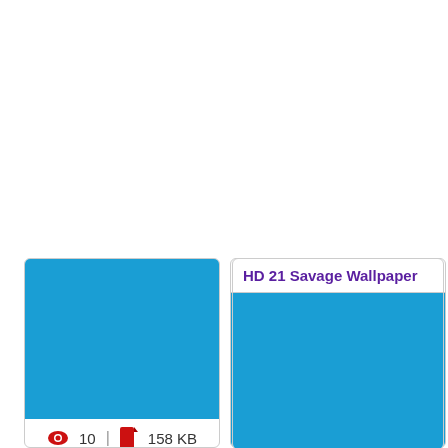[Figure (screenshot): Top-right card showing a blue image placeholder with view count 10, file size 158 KB, and a DOWNLOAD button]
10  |  158 KB
DOWNLOAD
HD 21 Savage Wallpaper
[Figure (screenshot): Bottom-left card with title HD 21 Savage Wallpaper and blue image placeholder]
HD 21 Savage Wallpaper
[Figure (screenshot): Bottom-right card with title HD 21 Savage Wallpaper and blue image placeholder]